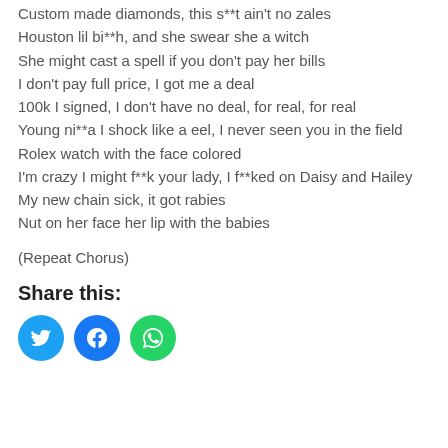Custom made diamonds, this s**t ain't no zales
Houston lil bi**h, and she swear she a witch
She might cast a spell if you don't pay her bills
I don't pay full price, I got me a deal
100k I signed, I don't have no deal, for real, for real
Young ni**a I shock like a eel, I never seen you in the field
Rolex watch with the face colored
I'm crazy I might f**k your lady, I f**ked on Daisy and Hailey
My new chain sick, it got rabies
Nut on her face her lip with the babies
(Repeat Chorus)
Share this: